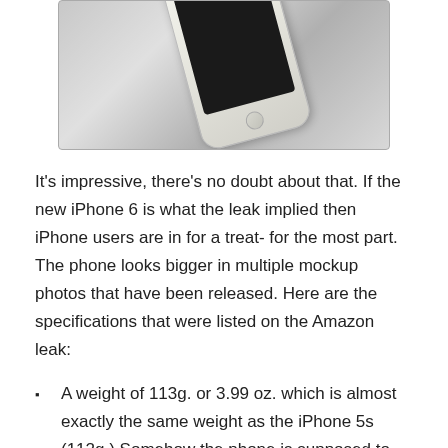[Figure (photo): Partial photo of an iPhone (likely iPhone 5s or similar) in gold/white color, lying on a light surface, showing the home button and bottom half of the device.]
It's impressive, there's no doubt about that. If the new iPhone 6 is what the leak implied then iPhone users are in for a treat- for the most part. The phone looks bigger in multiple mockup photos that have been released. Here are the specifications that were listed on the Amazon leak:
A weight of 113g. or 3.99 oz. which is almost exactly the same weight as the iPhone 5s (112g.) Somehow the phone is supposed to be both bigger while weighing similarly to other models.
Gold color option, as well as the standard grey and silver colors. Not much is changed in this respect.